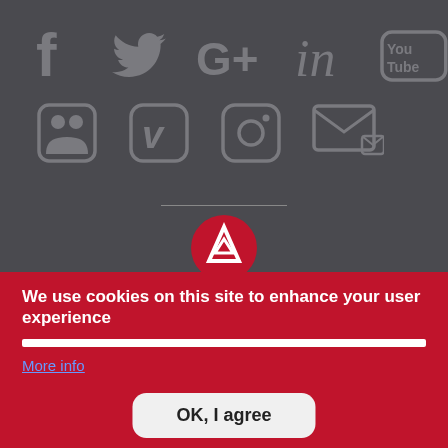[Figure (screenshot): Social media icons on dark grey background: Facebook, Twitter, Google+, LinkedIn, YouTube (top row); Flickr, Vimeo, Instagram, Email (bottom row), with a horizontal divider line and a red circular logo with white triangle/mountain symbol below]
We use cookies on this site to enhance your user experience
More info
OK, I agree